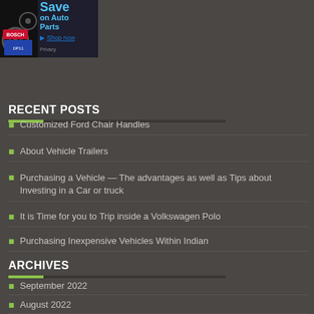[Figure (other): Advertisement banner for auto parts - 'Save on Auto Parts - Shop now' with Bosch product imagery]
RECENT POSTS
Customized Ford Chair Handles
About Vehicle Trailers
Purchasing a Vehicle — The advantages as well as Tips about Investing in a Car or truck
It is Time for you to Trip inside a Volkswagen Polo
Purchasing Inexpensive Vehicles Within Indian
ARCHIVES
September 2022
August 2022